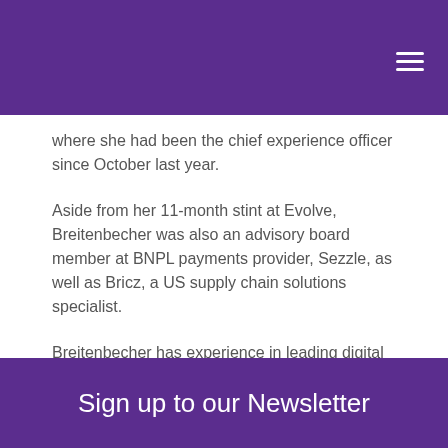where she had been the chief experience officer since October last year.
Aside from her 11-month stint at Evolve, Breitenbecher was also an advisory board member at BNPL payments provider, Sezzle, as well as Bricz, a US supply chain solutions specialist.
Breitenbecher has experience in leading digital and IT strategies for start-ups. She was the SVP CIO and Digital at Love's Furniture, and the SVP of Business Transformation at Art Van Furniture.
Sign up to our Newsletter